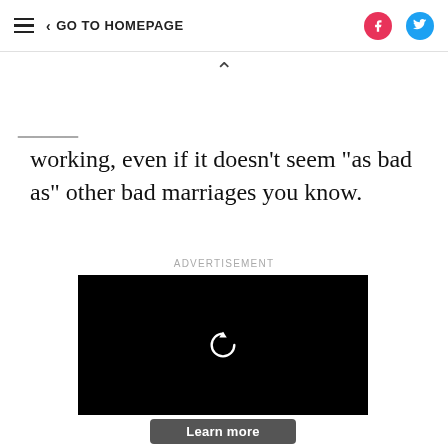≡ < GO TO HOMEPAGE [Facebook] [Twitter]
working, even if it doesn't seem "as bad as" other bad marriages you know.
ADVERTISEMENT
[Figure (screenshot): Black video player area with a replay/refresh circular arrow icon in white, and a 'Learn more' dark button below.]